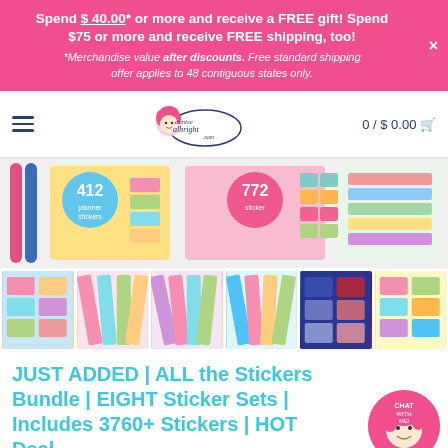Spend $40.00* or more and receive a FREE gift! Spend $75 or more and receive FREE shipping, too! *Merchandise value after discounts. Free standard shipping offer applies to 48 contiguous states only.
[Figure (logo): Denise Albright .com logo in oval with cartoon girl with pink hair]
0 / $0.00
[Figure (photo): Product photo showing sticker book sets with '412 planner stickers' and '772 sticker' labels visible]
[Figure (photo): Thumbnail strip showing 6 small product images of various sticker sets]
JUST ADDED | ALL the Stickers Bundle | EIGHT Sticker Sets | Includes 3760+ Stickers | HOT Deal